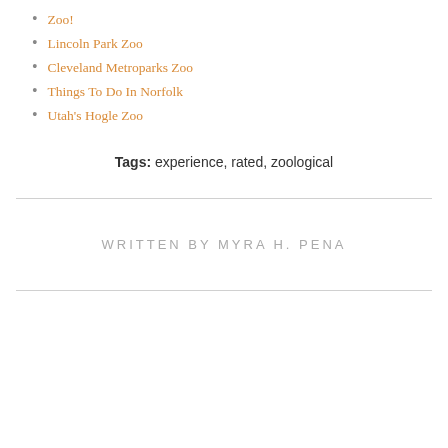Zoo!
Lincoln Park Zoo
Cleveland Metroparks Zoo
Things To Do In Norfolk
Utah's Hogle Zoo
Tags: experience, rated, zoological
WRITTEN BY MYRA H. PENA